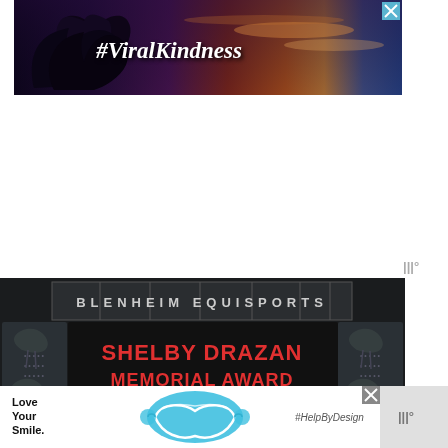[Figure (photo): Advertisement banner with silhouette of hands forming a heart shape against a sunset sky. Text reads #ViralKindness in white bold italic on dark gradient background. Close button (X) in blue in top right corner.]
[Figure (photo): Photo of a Blenheim EquiSports scoreboard/sign showing 'SHELBY DRAZAN MEMORIAL AWARD' in red text and 'EMILY WILLIAMS' in white text on dark background with horse silhouettes on the sides.]
[Figure (photo): Bottom advertisement banner for 'Love Your Smile' dental product with blue tooth/mouthguard icon and #HelpByDesign hashtag on white background.]